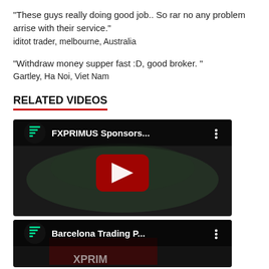"These guys really doing good job.. So rar no any problem arrise with their service."
iditot trader, melbourne, Australia
"Withdraw money supper fast :D, good broker. "
Gartley, Ha Noi, Viet Nam
RELATED VIDEOS
[Figure (screenshot): YouTube video thumbnail for 'FXPRIMUS Sponsors...' with play button overlay and YouTube menu icon]
[Figure (screenshot): YouTube video thumbnail for 'Barcelona Trading P...' with play button overlay and YouTube menu icon]